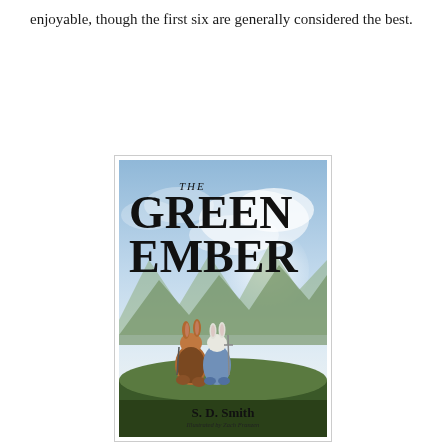enjoyable, though the first six are generally considered the best.
[Figure (illustration): Book cover of 'The Green Ember' by S. D. Smith, illustrated by Zach Franzen. Shows two anthropomorphic rabbits — a brown one and a white one — standing on a grassy hillside with mountains and a dramatic sky in the background. The title 'The Green Ember' appears in large serif letters at the top.]